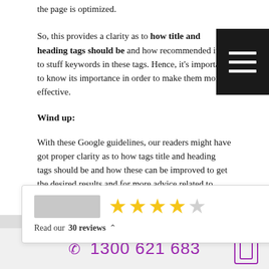the page is optimized.
So, this provides a clarity as to how title and heading tags should be and how recommended it is to stuff keywords in these tags. Hence, it’s important to know its importance in order to make them more effective.
Wind up:
With these Google guidelines, our readers might have got proper clarity as to how tags title and heading tags should be and how these can be improved to get the desired results and for more advice related to appropriate use of keywords in these tags, you can get the advice from SEO experts at
[Figure (infographic): Review widget showing a logo placeholder, 4 out of 5 stars in gold, and text 'Read our 30 reviews' with an upward caret arrow]
✆ 1300 621 683